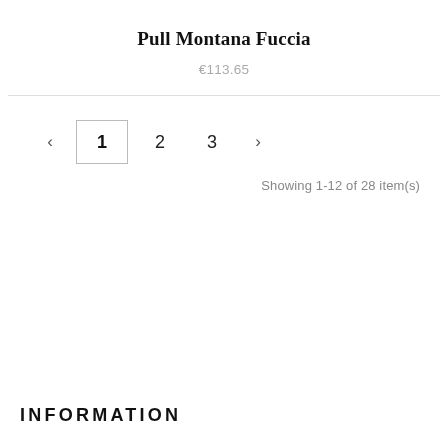Pull Montana Fuccia
€113.65
‹  1  2  3  ›
Showing 1-12 of 28 item(s)
INFORMATION